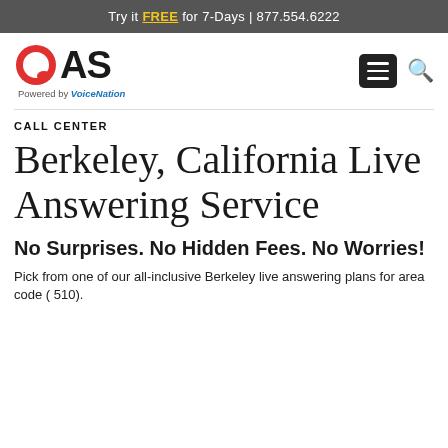Try it FREE for 7-Days | 877.554.6222
[Figure (logo): QAS logo with red speech bubble Q icon and bold AS text, powered by VoiceNation]
CALL CENTER
Berkeley, California Live Answering Service
No Surprises. No Hidden Fees. No Worries!
Pick from one of our all-inclusive Berkeley live answering plans for area code ( 510).